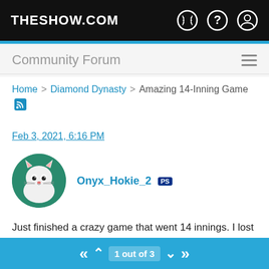THESHOW.COM
Community Forum
Home > Diamond Dynasty > Amazing 14-Inning Game
Feb 3, 2021, 6:16 PM
Onyx_Hokie_2
Just finished a crazy game that went 14 innings. I lost 2-1, with both runs resulting from Ty Cobb stealing with impunity. I had I-Rod behind the plate, yet Cobb went 3-for-3, including getting to 3rd in the 4th and scoring on a passed ball while his team was getting no-hit. Wild aspects of the game include:
1 out of 3